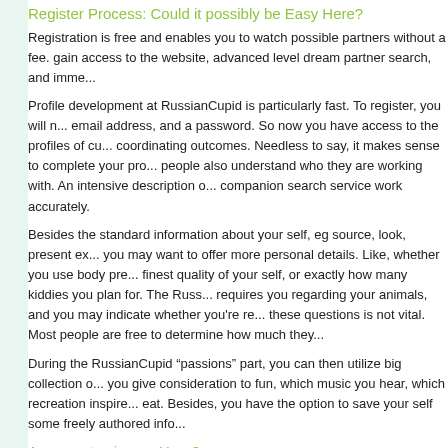Register Process: Could it possibly be Easy Here?
Registration is free and enables you to watch possible partners without a fee. gain access to the website, advanced level dream partner search, and imme...
Profile development at RussianCupid is particularly fast. To register, you will need email address, and a password. So now you have access to the profiles of cu... coordinating outcomes. Needless to say, it makes sense to complete your pro... people also understand who they are working with. An intensive description o... companion search service work accurately.
Besides the standard information about your self, eg source, look, present ex... you may want to offer more personal details. Like, whether you use body pre... finest quality of your self, or exactly how many kiddies you plan for. The Russ... requires you regarding your animals, and you may indicate whether you're re... these questions is not vital. Most people are free to determine how much they...
During the RussianCupid “passions” part, you can then utilize big collection o... you give consideration to fun, which music you hear, which recreation inspire... eat. Besides, you have the option to save your self some freely authored info...
Are reports sincere Here?
According for the customers’ opinions, the score of a site is one of the essent... As people in the comments section within the software evaluations state, mos... associates on RussianCupid. The site seems to have primarily records of rea... User reviews let you understand whether the site’s customers are genuine...